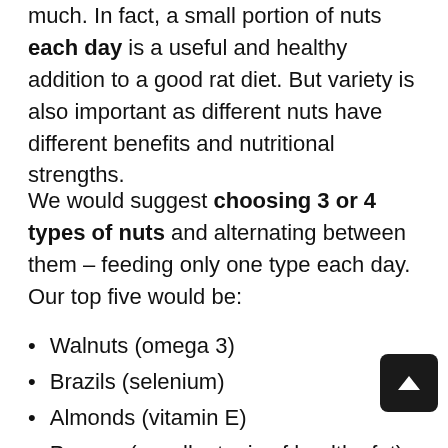much. In fact, a small portion of nuts each day is a useful and healthy addition to a good rat diet. But variety is also important as different nuts have different benefits and nutritional strengths.
We would suggest choosing 3 or 4 types of nuts and alternating between them – feeding only one type each day. Our top five would be:
Walnuts (omega 3)
Brazils (selenium)
Almonds (vitamin E)
Pecans (excellent mix of healthy fat)
Pistachios (high fiber and small enough to be offered frequently in the shell)